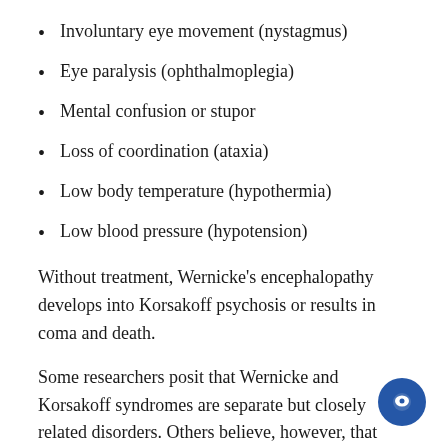Involuntary eye movement (nystagmus)
Eye paralysis (ophthalmoplegia)
Mental confusion or stupor
Loss of coordination (ataxia)
Low body temperature (hypothermia)
Low blood pressure (hypotension)
Without treatment, Wernicke's encephalopathy develops into Korsakoff psychosis or results in coma and death.
Some researchers posit that Wernicke and Korsakoff syndromes are separate but closely related disorders. Others believe, however, that they are essentially different stages of one disorder, or acute and chronic components of the same disease, respectively.